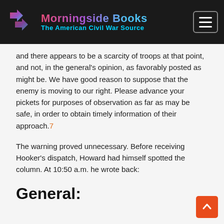Morningside Books — The American Civil War Source
and there appears to be a scarcity of troops at that point, and not, in the general's opinion, as favorably posted as might be. We have good reason to suppose that the enemy is moving to our right. Please advance your pickets for purposes of observation as far as may be safe, in order to obtain timely information of their approach.7
The warning proved unnecessary. Before receiving Hooker's dispatch, Howard had himself spotted the column. At 10:50 a.m. he wrote back:
General: